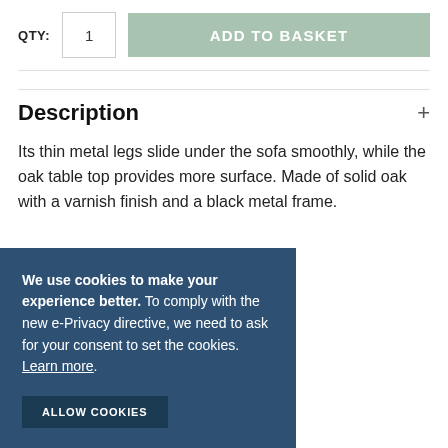QTY:
1
ADD TO BASKET
Description
Its thin metal legs slide under the sofa smoothly, while the oak table top provides more surface. Made of solid oak with a varnish finish and a black metal frame.
We use cookies to make your experience better. To comply with the new e-Privacy directive, we need to ask for your consent to set the cookies. Learn more. ALLOW COOKIES